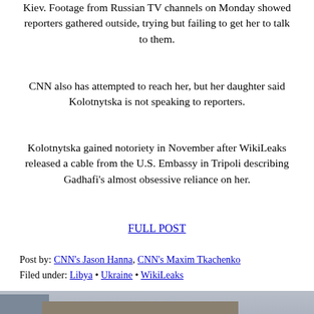Kiev. Footage from Russian TV channels on Monday showed reporters gathered outside, trying but failing to get her to talk to them.
CNN also has attempted to reach her, but her daughter said Kolotnytska is not speaking to reporters.
Kolotnytska gained notoriety in November after WikiLeaks released a cable from the U.S. Embassy in Tripoli describing Gadhafi's almost obsessive reliance on her.
FULL POST
Post by: CNN's Jason Hanna, CNN's Maxim Tkachenko
Filed under: Libya • Ukraine • WikiLeaks
[Figure (photo): A large crowd of people gathered in a city square outside a classical European building, with flowers laid in the foreground, likely a memorial gathering.]